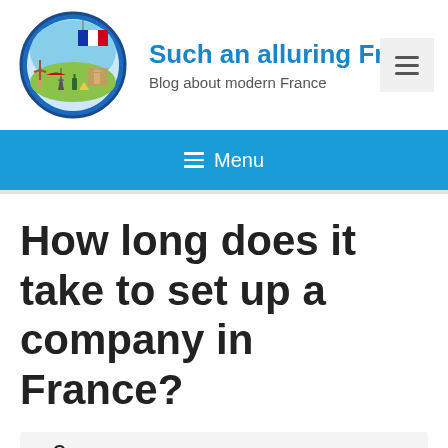[Figure (logo): Circular illustration logo featuring the Eiffel Tower, Arc de Triomphe, windmill, wine bottle, cheese, and French flag with blue circular border]
Such an alluring Fran
Blog about modern France
≡ Menu (hamburger button top right)
≡ Menu
How long does it take to set up a company in France?
Contents